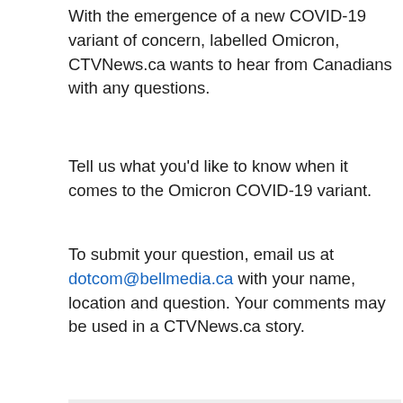With the emergence of a new COVID-19 variant of concern, labelled Omicron, CTVNews.ca wants to hear from Canadians with any questions.
Tell us what you'd like to know when it comes to the Omicron COVID-19 variant.
To submit your question, email us at dotcom@bellmedia.ca with your name, location and question. Your comments may be used in a CTVNews.ca story.
RELATED IMAGES
[Figure (photo): A social distancing sign showing two figures with a 2 metre arrow between them, set against a dark blurred background.]